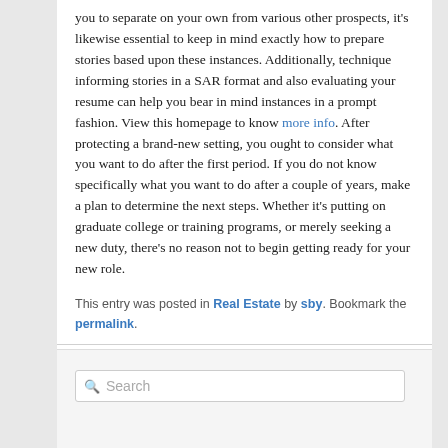you to separate on your own from various other prospects, it's likewise essential to keep in mind exactly how to prepare stories based upon these instances. Additionally, technique informing stories in a SAR format and also evaluating your resume can help you bear in mind instances in a prompt fashion. View this homepage to know more info. After protecting a brand-new setting, you ought to consider what you want to do after the first period. If you do not know specifically what you want to do after a couple of years, make a plan to determine the next steps. Whether it's putting on graduate college or training programs, or merely seeking a new duty, there's no reason not to begin getting ready for your new role.
This entry was posted in Real Estate by sby. Bookmark the permalink.